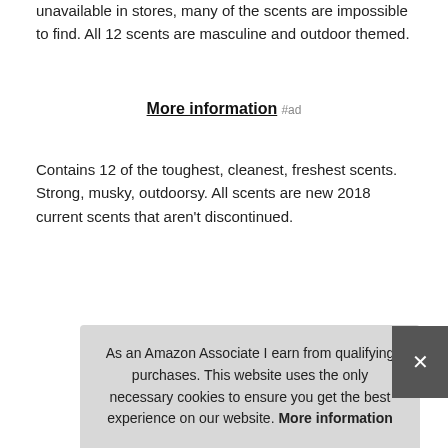unavailable in stores, many of the scents are impossible to find. All 12 scents are masculine and outdoor themed.
More information #ad
Contains 12 of the toughest, cleanest, freshest scents. Strong, musky, outdoorsy. All scents are new 2018 current scents that aren't discontinued.
|  |  |
| --- | --- |
| Brand | Little Trees #ad |
| Manufacturer | Little Trees #ad |
| Part Number | LTAFMasSV |
As an Amazon Associate I earn from qualifying purchases. This website uses the only necessary cookies to ensure you get the best experience on our website. More information